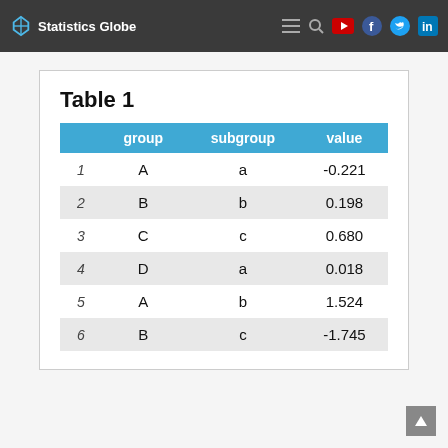Statistics Globe
Table 1
| group | subgroup | value |
| --- | --- | --- |
| 1 | A | a | -0.221 |
| 2 | B | b | 0.198 |
| 3 | C | c | 0.680 |
| 4 | D | a | 0.018 |
| 5 | A | b | 1.524 |
| 6 | B | c | -1.745 |